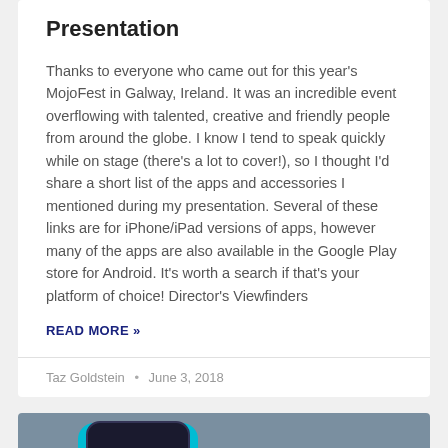Presentation
Thanks to everyone who came out for this year's MojoFest in Galway, Ireland. It was an incredible event overflowing with talented, creative and friendly people from around the globe. I know I tend to speak quickly while on stage (there's a lot to cover!), so I thought I'd share a short list of the apps and accessories I mentioned during my presentation. Several of these links are for iPhone/iPad versions of apps, however many of the apps are also available in the Google Play store for Android. It's worth a search if that's your platform of choice! Director's Viewfinders
READ MORE »
Taz Goldstein · June 3, 2018
[Figure (photo): Bottom section showing a MojoFest logo/image with teal and dark device shapes and an ANNOUNCEMENTS badge on dark blue background]